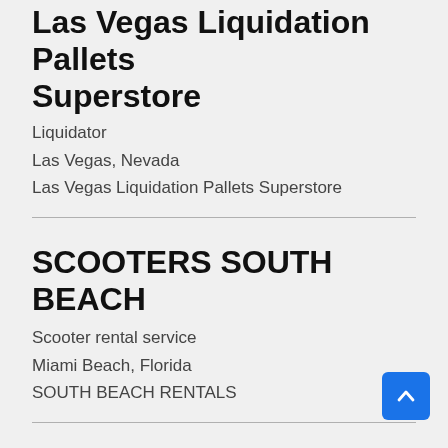Las Vegas Liquidation Pallets Superstore
Liquidator
Las Vegas, Nevada
Las Vegas Liquidation Pallets Superstore
SCOOTERS SOUTH BEACH
Scooter rental service
Miami Beach, Florida
SOUTH BEACH RENTALS
Sarasota Landscape
Landscaper
Sarasota, Florida